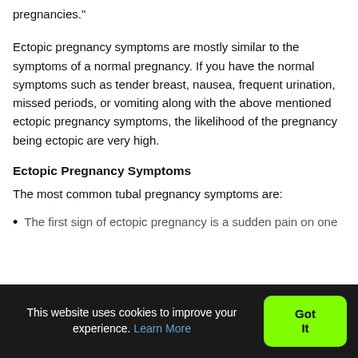pregnancies."
Ectopic pregnancy symptoms are mostly similar to the symptoms of a normal pregnancy. If you have the normal symptoms such as tender breast, nausea, frequent urination, missed periods, or vomiting along with the above mentioned ectopic pregnancy symptoms, the likelihood of the pregnancy being ectopic are very high.
Ectopic Pregnancy Symptoms
The most common tubal pregnancy symptoms are:
The first sign of ectopic pregnancy is a sudden pain on one
This website uses cookies to improve your experience. Learn More
Got It